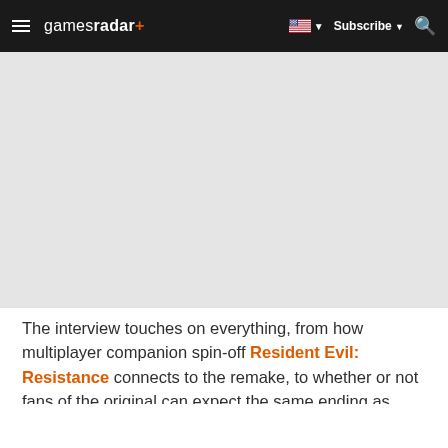gamesradar+ — Subscribe — Search
[Figure (other): Gray placeholder/advertisement area]
The interview touches on everything, from how multiplayer companion spin-off Resident Evil: Resistance connects to the remake, to whether or not fans of the original can expect the same ending as before, so worth reading in full, even if some of